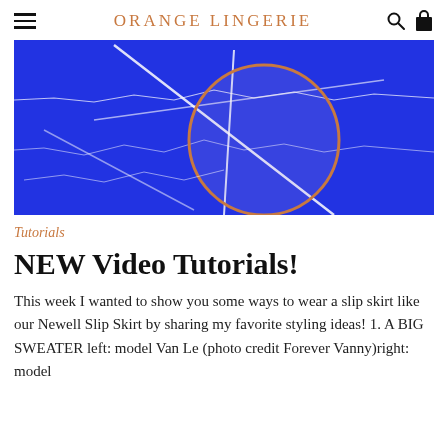ORANGE LINGERIE
[Figure (photo): Close-up abstract photo of a blue textured background with white crinkled lines and an orange circle outline overlaid, resembling a sewing/fabric pattern]
Tutorials
NEW Video Tutorials!
This week I wanted to show you some ways to wear a slip skirt like our Newell Slip Skirt by sharing my favorite styling ideas! 1. A BIG SWEATER left: model Van Le (photo credit Forever Vanny)right: model